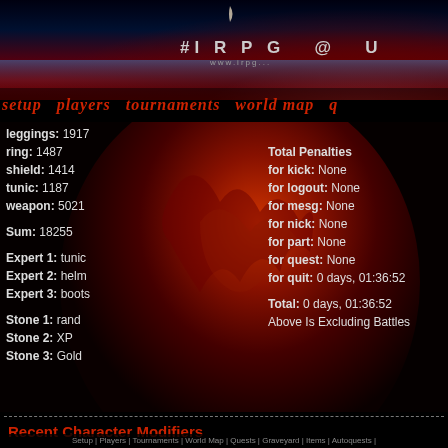#IRPG @ U
SETUP PLAYERS TOURNAMENTS WORLD MAP Q
leggings: 1917
ring: 1487
shield: 1414
tunic: 1187
weapon: 5021

Sum: 18255

Expert 1: tunic
Expert 2: helm
Expert 3: boots

Stone 1: rand
Stone 2: XP
Stone 3: Gold
Total Penalties
for kick: None
for logout: None
for mesg: None
for nick: None
for part: None
for quest: None
for quit: 0 days, 01:36:52

Total: 0 days, 01:36:52
Above Is Excluding Battles
Recent Character Modifiers
[08/31/22 16:16:57] ■(CALAMITY)■ Preafericitu' slipped and dropped their charm in a di... Preafericitu's charm loses [10%] effectiveness.